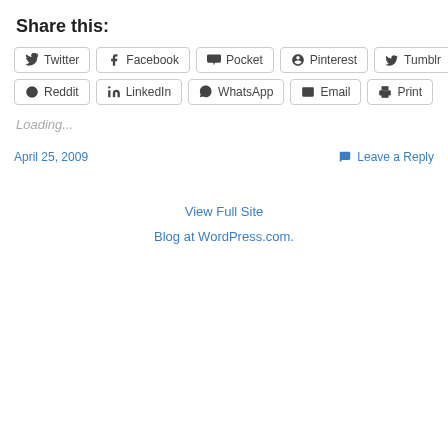Share this:
Twitter
Facebook
Pocket
Pinterest
Tumblr
Reddit
LinkedIn
WhatsApp
Email
Print
Loading...
April 25, 2009
Leave a Reply
View Full Site
Blog at WordPress.com.